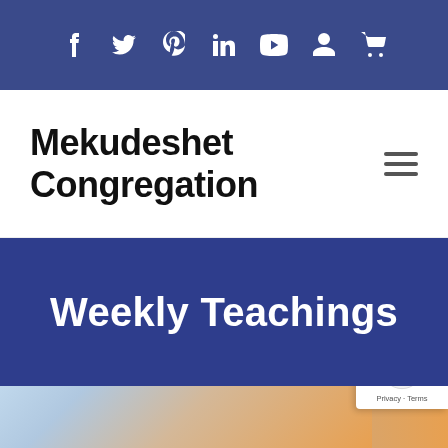Social media icons: f (Facebook), Twitter, Pinterest, LinkedIn, YouTube, User, Cart
Mekudeshet Congregation
Weekly Teachings
[Figure (photo): Partial view of a blurred image with warm orange and cool blue tones, partially cropped at the bottom of the page. A reCAPTCHA badge showing 'Privacy - Terms' is overlaid in the bottom right corner.]